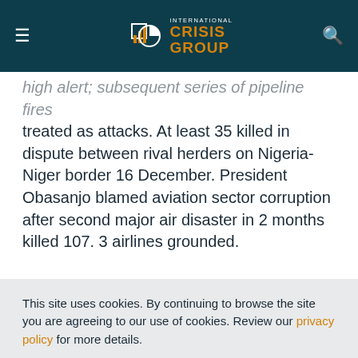International Crisis Group
high alert; subsequent series of pipeline fires treated as attacks. At least 35 killed in dispute between rival herders on Nigeria-Niger border 16 December. President Obasanjo blamed aviation sector corruption after second major air disaster in 2 months killed 107. 3 airlines grounded.
This site uses cookies. By continuing to browse the site you are agreeing to our use of cookies. Review our privacy policy for more details.
YES, I AGREE